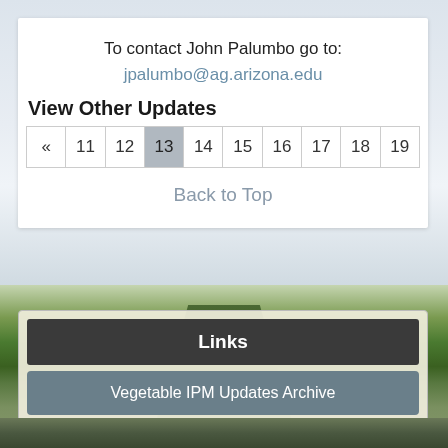To contact John Palumbo go to:
jpalumbo@ag.arizona.edu
View Other Updates
| « | 11 | 12 | 13 | 14 | 15 | 16 | 17 | 18 | 19 |
| --- | --- | --- | --- | --- | --- | --- | --- | --- | --- |
Back to Top
[Figure (photo): Agricultural field photograph showing rows of crops stretching to the horizon under a cloudy sky]
Links
Vegetable IPM Updates Archive
Subscribe to the VIPM Update news letter